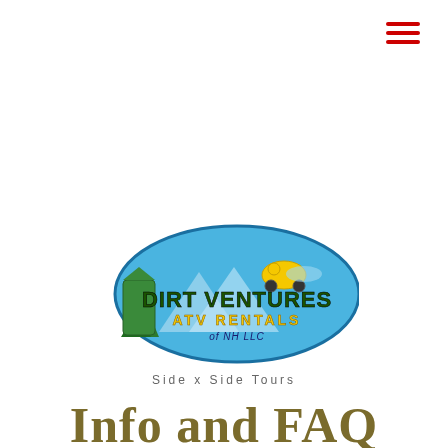[Figure (logo): Dirt Ventures ATV Rentals of NH LLC logo — oval blue shape with mountain/forest background, ATV rider, green NH state shape, with bold text 'Dirt Ventures ATV Rentals of NH LLC']
Side x Side Tours
Info and FAQ